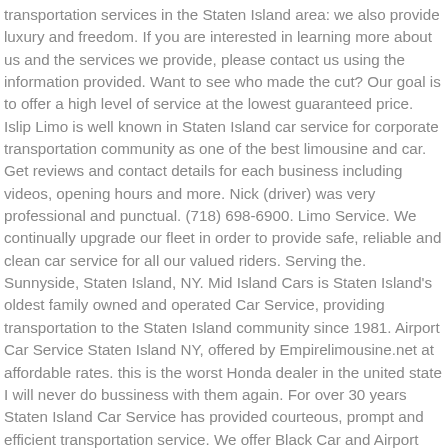transportation services in the Staten Island area: we also provide luxury and freedom. If you are interested in learning more about us and the services we provide, please contact us using the information provided. Want to see who made the cut? Our goal is to offer a high level of service at the lowest guaranteed price. Islip Limo is well known in Staten Island car service for corporate transportation community as one of the best limousine and car. Get reviews and contact details for each business including videos, opening hours and more. Nick (driver) was very professional and punctual. (718) 698-6900. Limo Service. We continually upgrade our fleet in order to provide safe, reliable and clean car service for all our valued riders. Serving the. Sunnyside, Staten Island, NY. Mid Island Cars is Staten Island's oldest family owned and operated Car Service, providing transportation to the Staten Island community since 1981. Airport Car Service Staten Island NY, offered by Empirelimousine.net at affordable rates. this is the worst Honda dealer in the united state I will never do bussiness with them again. For over 30 years Staten Island Car Service has provided courteous, prompt and efficient transportation service. We offer Black Car and Airport Car Services to major Airports. Search results are sorted by a combination of factors to give you a set of choices in response to your search criteria.